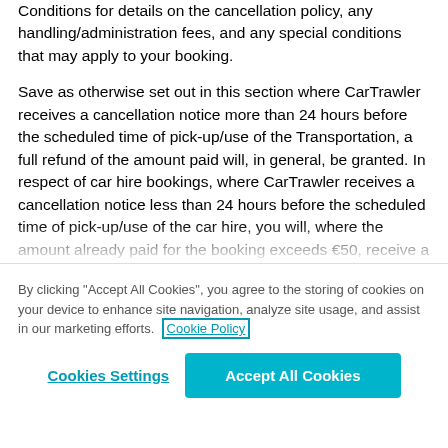Conditions for details on the cancellation policy, any handling/administration fees, and any special conditions that may apply to your booking.
Save as otherwise set out in this section where CarTrawler receives a cancellation notice more than 24 hours before the scheduled time of pick-up/use of the Transportation, a full refund of the amount paid will, in general, be granted. In respect of car hire bookings, where CarTrawler receives a cancellation notice less than 24 hours before the scheduled time of pick-up/use of the car hire, you will, where the amount already paid for the booking exceeds €50, receive a refund of the amount paid minus the €50
By clicking "Accept All Cookies", you agree to the storing of cookies on your device to enhance site navigation, analyze site usage, and assist in our marketing efforts. Cookie Policy
Cookies Settings
Accept All Cookies